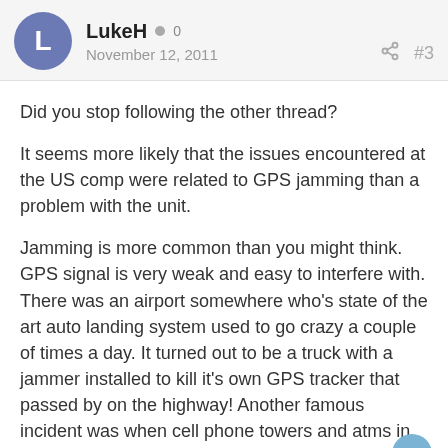LukeH · 0 · November 12, 2011 · #3
Did you stop following the other thread?
It seems more likely that the issues encountered at the US comp were related to GPS jamming than a problem with the unit.
Jamming is more common than you might think. GPS signal is very weak and easy to interfere with. There was an airport somewhere who's state of the art auto landing system used to go crazy a couple of times a day. It turned out to be a truck with a jammer installed to kill it's own GPS tracker that passed by on the highway! Another famous incident was when cell phone towers and atms in some costal city all